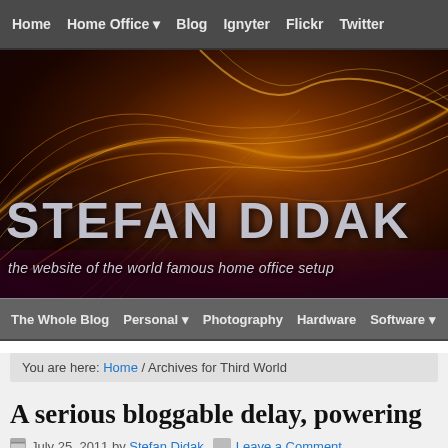Home | Home Office | Blog | Ignyter | Flickr | Twitter
[Figure (illustration): Hero banner with abstract golden/orange light streaks on dark background with STEFAN DIDAK title and tagline]
STEFAN DIDAK
the website of the world famous home office setup
The Whole Blog | Personal | Photography | Hardware | Software
You are here: Home / Archives for Third World
A serious bloggable delay, powering
July 25, 2011 by Stefan Didak   Leave a Comment
No matter how well you plan something and h